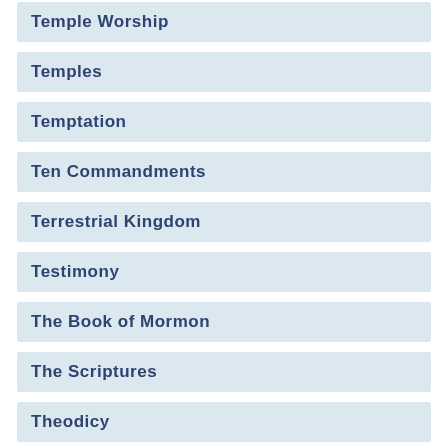Temple Worship
Temples
Temptation
Ten Commandments
Terrestrial Kingdom
Testimony
The Book of Mormon
The Scriptures
Theodicy